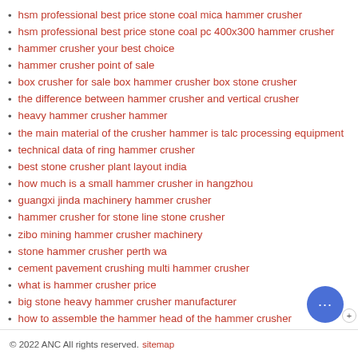hsm professional best price stone coal mica hammer crusher
hsm professional best price stone coal pc 400x300 hammer crusher
hammer crusher your best choice
hammer crusher point of sale
box crusher for sale box hammer crusher box stone crusher
the difference between hammer crusher and vertical crusher
heavy hammer crusher hammer
the main material of the crusher hammer is talc processing equipment
technical data of ring hammer crusher
best stone crusher plant layout india
how much is a small hammer crusher in hangzhou
guangxi jinda machinery hammer crusher
hammer crusher for stone line stone crusher
zibo mining hammer crusher machinery
stone hammer crusher perth wa
cement pavement crushing multi hammer crusher
what is hammer crusher price
big stone heavy hammer crusher manufacturer
how to assemble the hammer head of the hammer crusher
zeolite hammer crusher
hammer crushers for gold gravels crusher exporter
© 2022 ANC All rights reserved. sitemap